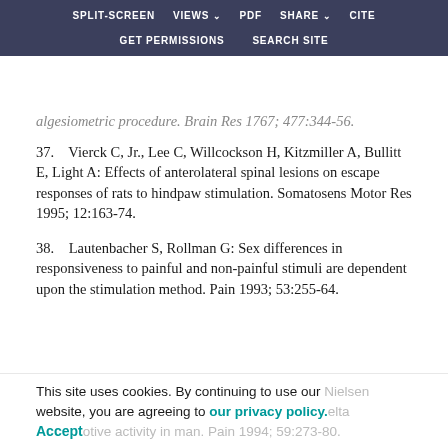SPLIT-SCREEN  VIEWS  PDF  SHARE  CITE  GET PERMISSIONS  SEARCH SITE
algesiometric procedure. Brain Res 1767; 477:344-56.
37.    Vierck C, Jr., Lee C, Willcockson H, Kitzmiller A, Bullitt E, Light A: Effects of anterolateral spinal lesions on escape responses of rats to hindpaw stimulation. Somatosens Motor Res 1995; 12:163-74.
38.    Lautenbacher S, Rollman G: Sex differences in responsiveness to painful and non-painful stimuli are dependent upon the stimulation method. Pain 1993; 53:255-64.
This site uses cookies. By continuing to use our website, you are agreeing to our privacy policy. Accept  ...nociceptive activity in man. Pain 1994; 59:273-80.